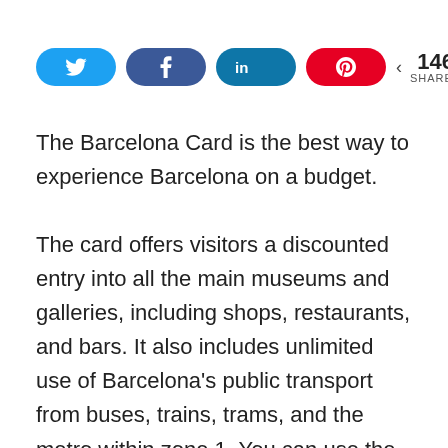[Figure (infographic): Social share buttons row: Twitter (blue), Facebook (dark blue), LinkedIn (teal), Pinterest (red), and a share count showing 146 SHARES]
The Barcelona Card is the best way to experience Barcelona on a budget.
The card offers visitors a discounted entry into all the main museums and galleries, including shops, restaurants, and bars. It also includes unlimited use of Barcelona's public transport from buses, trains, trams, and the metro within zone 1. You can use the card for 24–120 hours from the first validation.